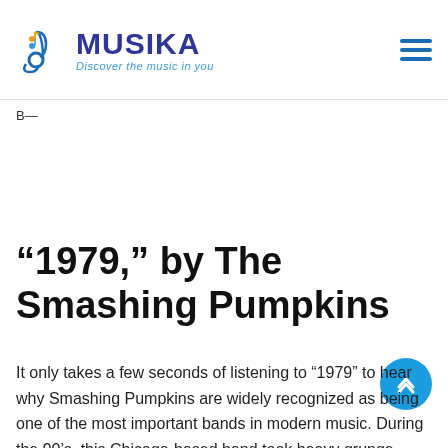MUSIKA — Discover the music in you
B—
“1979,” by The Smashing Pumpkins
It only takes a few seconds of listening to “1979” to hear why Smashing Pumpkins are widely recognized as being one of the most important bands in modern music. During the 90’s, this Chicago-based band took heavy grunge music and expanded it into gorgeous, sprawling songs that are dreamlike in nature. “1979” is one of the